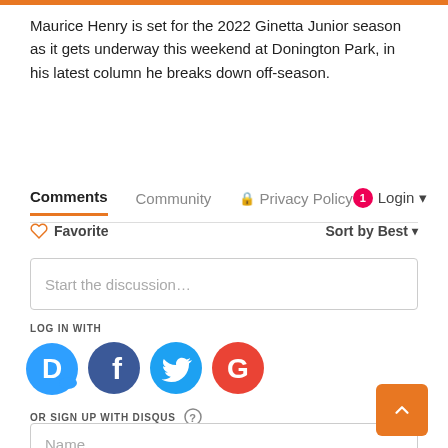Maurice Henry is set for the 2022 Ginetta Junior season as it gets underway this weekend at Donington Park, in his latest column he breaks down off-season.
Comments  Community  Privacy Policy  1  Login
Favorite  Sort by Best
Start the discussion…
LOG IN WITH
[Figure (logo): Social login icons: Disqus (D), Facebook (f), Twitter bird, Google (G)]
OR SIGN UP WITH DISQUS ?
Name